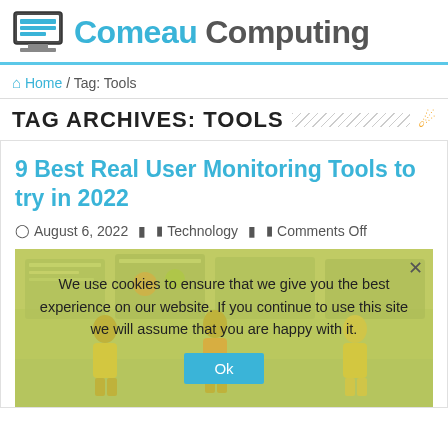Comeau Computing
Home / Tag: Tools
TAG ARCHIVES: TOOLS
9 Best Real User Monitoring Tools to try in 2022
August 6, 2022  Technology  Comments Off
[Figure (illustration): Illustration of people using computers and digital dashboards, partially obscured by a cookie consent overlay.]
We use cookies to ensure that we give you the best experience on our website. If you continue to use this site we will assume that you are happy with it.